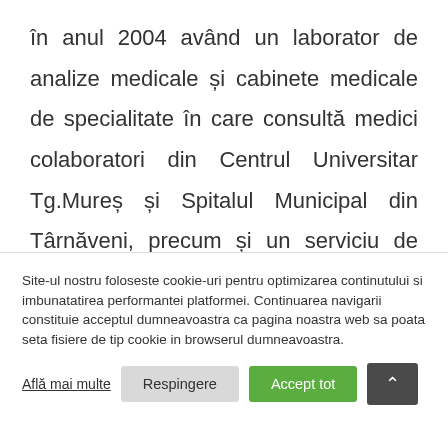în anul 2004 având un laborator de analize medicale și cabinete medicale de specialitate în care consultă medici colaboratori din Centrul Universitar Tg.Mureș și Spitalul Municipal din Târnăveni, precum și un serviciu de radiologie dentară și cabinete de fizioterapie, kinetoterapie.
Site-ul nostru foloseste cookie-uri pentru optimizarea continutului si imbunatatirea performantei platformei. Continuarea navigarii constituie acceptul dumneavoastra ca pagina noastra web sa poata seta fisiere de tip cookie in browserul dumneavoastra.
Află mai multe
Respingere
Accept tot